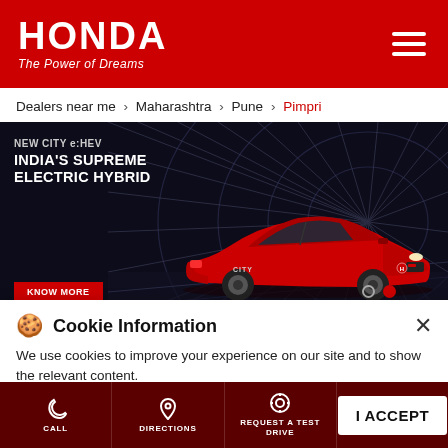HONDA The Power of Dreams
Dealers near me > Maharashtra > Pune > Pimpri
[Figure (photo): Honda City e:HEV car advertisement banner showing red Honda City sedan in a tunnel with text 'NEW CITY e:HEV INDIA'S SUPREME ELECTRIC HYBRID' and a 'KNOW MORE' button]
Cookie Information
We use cookies to improve your experience on our site and to show the relevant content.
CALL | DIRECTIONS | REQUEST A TEST DRIVE | I ACCEPT